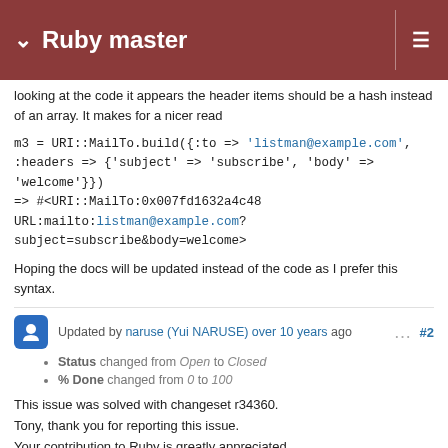Ruby master
looking at the code it appears the header items should be a hash instead of an array. It makes for a nicer read
m3 = URI::MailTo.build({:to => 'listman@example.com', :headers => {'subject' => 'subscribe', 'body' => 'welcome'}}) => #<URI::MailTo:0x007fd1632a4c48 URL:mailto:listman@example.com?subject=subscribe&body=welcome>
Hoping the docs will be updated instead of the code as I prefer this syntax.
Updated by naruse (Yui NARUSE) over 10 years ago  #2
Status changed from Open to Closed
% Done changed from 0 to 100
This issue was solved with changeset r34360.
Tony, thank you for reporting this issue.
Your contribution to Ruby is greatly appreciated.
May Ruby be with you.
lib/uri/mailto.rb (URI::MailTo.build): follow Array#to_s